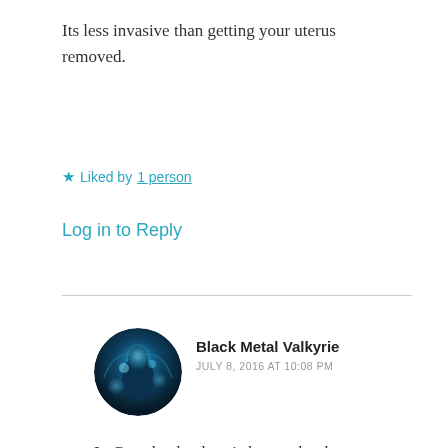Its less invasive than getting your uterus removed.
★ Liked by 1 person
Log in to Reply
Black Metal Valkyrie
JULY 8, 2016 AT 10:08 PM
[Figure (photo): Circular avatar image of Black Metal Valkyrie — a dark blue-toned fantasy figure with glowing blue orbs]
In Canada, the drug is known by the name Min-Ovral 28.
Advertisements